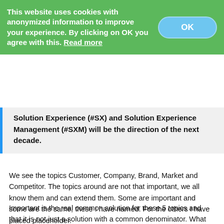This website uses cookies with anonymized information to improve your experience. By clicking on OK you agree with this. Read more
Solution Experience (#SX) and Solution Experience Management (#SXM) will be the direction of the next decade.
We see the topics Customer, Company, Brand, Market and Competitor. The topics around are not that important, we all know them and can extend them. Some are important and some are the same, these I have named. For the others I have placed placeholder.
Important is the real common solution for these 5 topics and that it is not just a solution with a common denominator. What we need is to build a great experience for all parties with this solution.